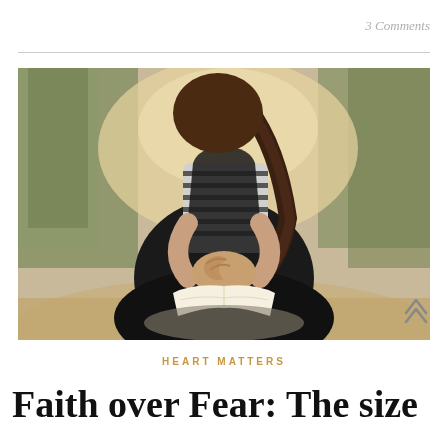3 Comments
[Figure (photo): A young woman with braided hair sitting outdoors on a sandy/rocky surface, wearing a striped shirt, hands clasped in prayer over an open book/Bible in her lap, with blurred green foliage in the background.]
HEART MATTERS
Faith over Fear: The size